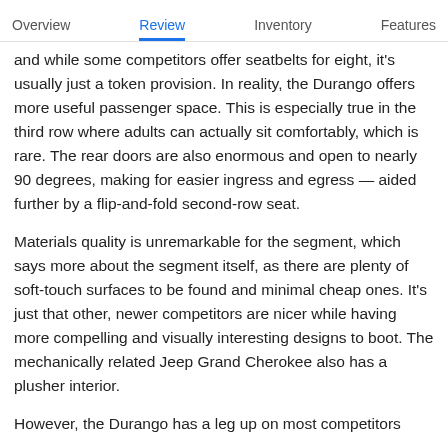Overview   Review   Inventory   Features
and while some competitors offer seatbelts for eight, it's usually just a token provision. In reality, the Durango offers more useful passenger space. This is especially true in the third row where adults can actually sit comfortably, which is rare. The rear doors are also enormous and open to nearly 90 degrees, making for easier ingress and egress — aided further by a flip-and-fold second-row seat.
Materials quality is unremarkable for the segment, which says more about the segment itself, as there are plenty of soft-touch surfaces to be found and minimal cheap ones. It's just that other, newer competitors are nicer while having more compelling and visually interesting designs to boot. The mechanically related Jeep Grand Cherokee also has a plusher interior.
However, the Durango has a leg up on most competitors